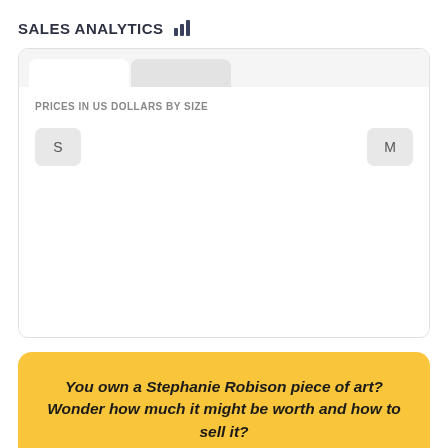SALES ANALYTICS
[Figure (screenshot): Sales analytics dashboard panel showing 'PRICES IN US DOLLARS BY SIZE' with two size buttons S and M and two tab selectors at the top]
You own a Stephanie Robison piece of art? Wonder how much it might be worth and how to sell it?
ESTIMATE & SELL YOUR STEPHANIE ROBISON ARTWORK